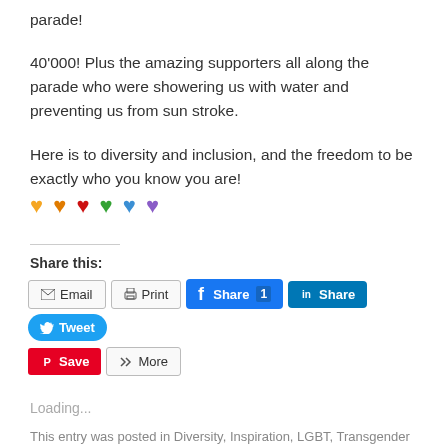parade!
40'000! Plus the amazing supporters all along the parade who were showering us with water and preventing us from sun stroke.
Here is to diversity and inclusion, and the freedom to be exactly who you know you are! 🧡🧡❤️💚💙💜
Share this:
Email  Print  Share 1  Share  Tweet  Save  More
Loading...
This entry was posted in Diversity, Inspiration, LGBT, Transgender